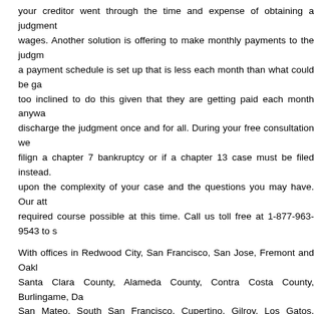your creditor went through the time and expense of obtaining a judgment wages. Another solution is offering to make monthly payments to the judgm a payment schedule is set up that is less each month than what could be ga too inclined to do this given that they are getting paid each month anywa discharge the judgment once and for all. During your free consultation we filign a chapter 7 bankruptcy or if a chapter 13 case must be filed instead. upon the complexity of your case and the questions you may have. Our att required course possible at this time. Call us toll free at 1-877-963-9543 to s
With offices in Redwood City, San Francisco, San Jose, Fremont and Oakl Santa Clara County, Alameda County, Contra Costa County, Burlingame, Da San Mateo, South San Francisco, Cupertino, Gilroy, Los Gatos, Milpitas, M Pittsburg, Pleasant Hill, Richmond, San Pablo, San Ramon, Walnut Creek, B
By Ryan C. Wood
Contact Us   Site Map   Disclaimer   Privacy   West Coast Bankruptcy Attorneys is a c